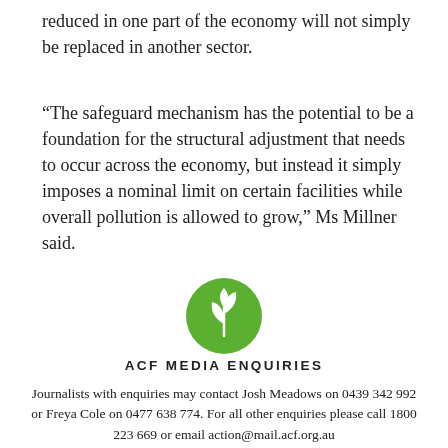reduced in one part of the economy will not simply be replaced in another sector.
“The safeguard mechanism has the potential to be a foundation for the structural adjustment that needs to occur across the economy, but instead it simply imposes a nominal limit on certain facilities while overall pollution is allowed to grow,” Ms Millner said.
[Figure (logo): ACF green circular logo with a leaf/plant icon in white on a green circle]
ACF MEDIA ENQUIRIES
Journalists with enquiries may contact Josh Meadows on 0439 342 992 or Freya Cole on 0477 638 774. For all other enquiries please call 1800 223 669 or email action@mail.acf.org.au